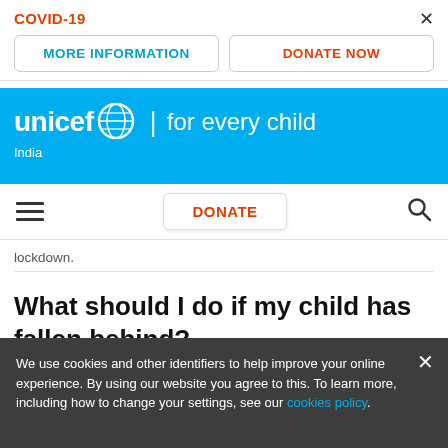COVID-19
MORE INFORMATION
DONATE NOW
[Figure (logo): UNICEF logo with globe icon and tagline 'for every child', India subheading, on blue background]
DONATE
lockdown.
What should I do if my child has fallen behind?
We use cookies and other identifiers to help improve your online experience. By using our website you agree to this. To learn more, including how to change your settings, see our cookies policy.